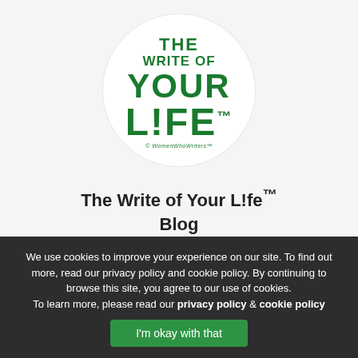[Figure (logo): The Write of Your L!fe logo — circular white background with bold green stacked text: THE / WRITE OF / YOUR / L!FE with trademark symbol, and a small italic tagline beneath]
The Write of Your L!fe™ Blog
We use cookies to improve your experience on our site. To find out more, read our privacy policy and cookie policy. By continuing to browse this site, you agree to our use of cookies. To learn more, please read our privacy policy & cookie policy
I'm okay with that